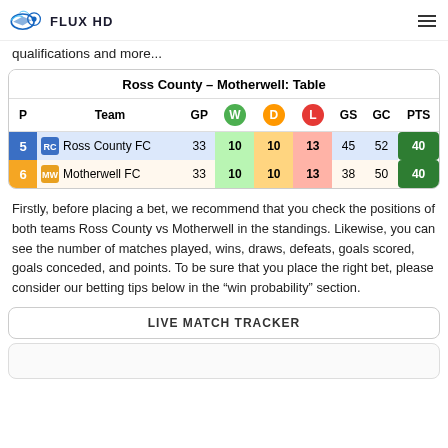FLUX HD
qualifications and more...
| P | Team | GP | W | D | L | GS | GC | PTS |
| --- | --- | --- | --- | --- | --- | --- | --- | --- |
| 5 | Ross County FC | 33 | 10 | 10 | 13 | 45 | 52 | 40 |
| 6 | Motherwell FC | 33 | 10 | 10 | 13 | 38 | 50 | 40 |
Ross County – Motherwell: Table
Firstly, before placing a bet, we recommend that you check the positions of both teams Ross County vs Motherwell in the standings. Likewise, you can see the number of matches played, wins, draws, defeats, goals scored, goals conceded, and points. To be sure that you place the right bet, please consider our betting tips below in the "win probability" section.
LIVE MATCH TRACKER